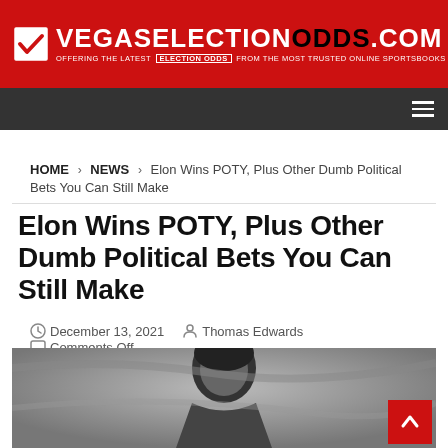VEGASELECTIONODDS.COM — OFFERING THE LATEST ELECTION ODDS FROM THE MOST TRUSTED ONLINE SPORTSBOOKS
HOME > NEWS > Elon Wins POTY, Plus Other Dumb Political Bets You Can Still Make
Elon Wins POTY, Plus Other Dumb Political Bets You Can Still Make
December 13, 2021  Thomas Edwards  Comments Off
[Figure (photo): Black and white photograph of a person, partially visible, dark background]